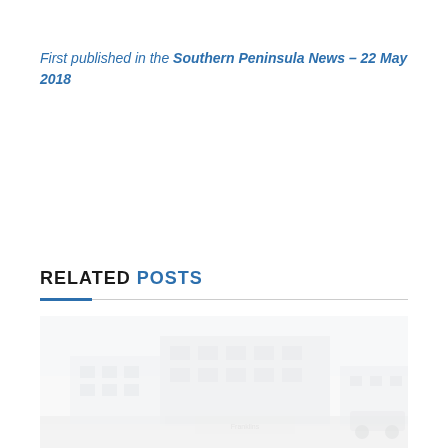First published in the Southern Peninsula News – 22 May 2018
RELATED POSTS
[Figure (photo): A faded/washed-out photograph of a commercial building or street scene, shown at the bottom of the page.]